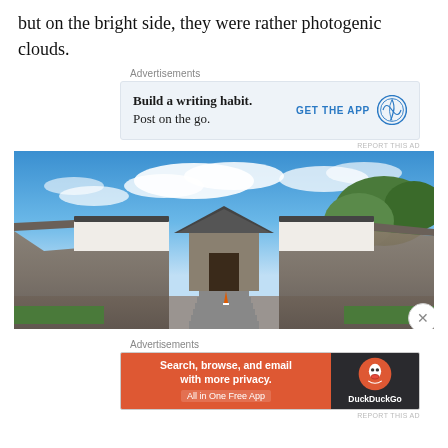but on the bright side, they were rather photogenic clouds.
Advertisements
[Figure (other): WordPress advertisement: Build a writing habit. Post on the go. GET THE APP with WordPress logo]
REPORT THIS AD
[Figure (photo): Photo of a Japanese castle gate entrance with stone walls, white plaster walls, and a wooden gate, blue sky with white clouds and green trees]
Advertisements
[Figure (other): DuckDuckGo advertisement: Search, browse, and email with more privacy. All in One Free App. DuckDuckGo logo.]
REPORT THIS AD